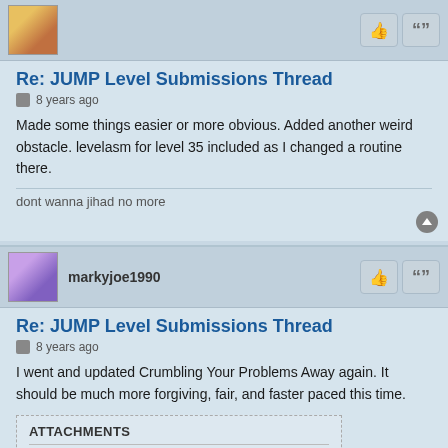[avatar] [like button] [quote button]
Re: JUMP Level Submissions Thread
8 years ago
Made some things easier or more obvious. Added another weird obstacle. levelasm for level 35 included as I changed a routine there.
dont wanna jihad no more
markyjoe1990
Re: JUMP Level Submissions Thread
8 years ago
I went and updated Crumbling Your Problems Away again. It should be much more forgiving, fair, and faster paced this time.
ATTACHMENTS
Crumbling Your Problems Away Version 3.zip
(7.48 KiB) Downloaded 85 times
worldpeace125